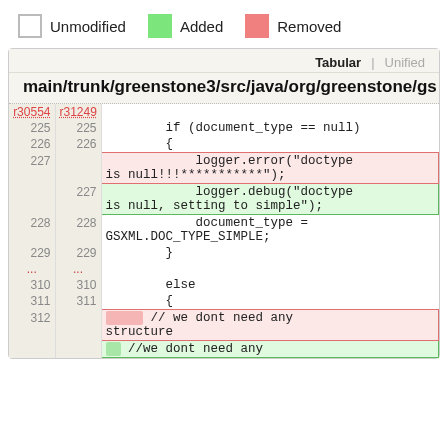[Figure (screenshot): Code diff view legend showing Unmodified, Added, Removed color coding, then a tabular diff for main/trunk/greenstone3/src/java/org/greenstone/gs showing changes around lines 225-312 with removed logger.error call and added logger.debug call, and a removed inline comment in line 312.]